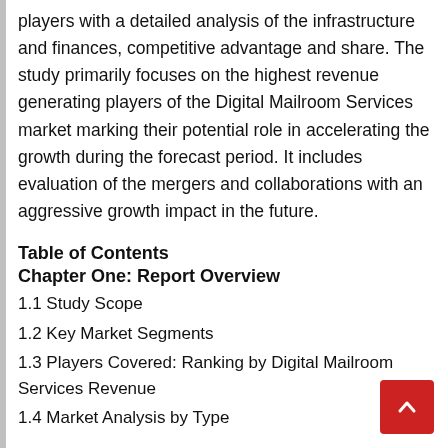players with a detailed analysis of the infrastructure and finances, competitive advantage and share. The study primarily focuses on the highest revenue generating players of the Digital Mailroom Services market marking their potential role in accelerating the growth during the forecast period. It includes evaluation of the mergers and collaborations with an aggressive growth impact in the future.
Table of Contents
Chapter One: Report Overview
1.1 Study Scope
1.2 Key Market Segments
1.3 Players Covered: Ranking by Digital Mailroom Services Revenue
1.4 Market Analysis by Type